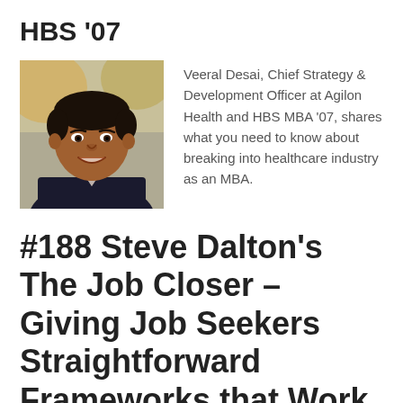HBS ’07
[Figure (photo): Headshot of Veeral Desai, a man in a dark suit smiling, with a blurred outdoor background]
Veeral Desai, Chief Strategy & Development Officer at Agilon Health and HBS MBA ’07, shares what you need to know about breaking into healthcare industry as an MBA.
#188 Steve Dalton’s The Job Closer – Giving Job Seekers Straightforward Frameworks that Work Fast and Work Well